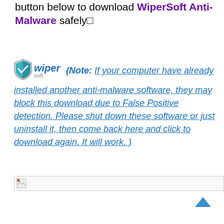button below to download WiperSoft Anti-Malware safely□
(Note: If your computer have already installed another anti-malware software, they may block this download due to False Positive detection. Please shut down these software or just uninstall it, then come back here and click to download again. It will work. )
[Figure (logo): WiperSoft logo with shield icon and text]
[Figure (photo): Broken/unloaded image placeholder]
[Figure (illustration): Scroll to top arrow icon (upward chevron in blue)]